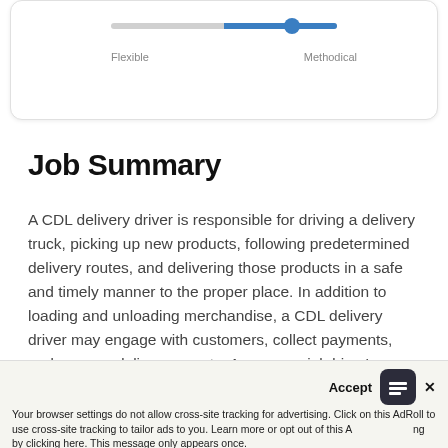[Figure (other): A card with a slider control showing position between Flexible (left) and Methodical (right), with the thumb positioned toward the Methodical end, highlighted in blue.]
Job Summary
A CDL delivery driver is responsible for driving a delivery truck, picking up new products, following predetermined delivery routes, and delivering those products in a safe and timely manner to the proper place. In addition to loading and unloading merchandise, a CDL delivery driver may engage with customers, collect payments, and prepare delivery reports. A commercial driver's license is required for the CDL delivery driver position. The commercial driver's license allows a person to operate commercial motor vehicles (like trucks, tractor-trailers, semis, and others)
Your browser settings do not allow cross-site tracking for advertising. Click on this AdRoll to use cross-site tracking to tailor ads to you. Learn more or opt out of this A by clicking here. This message only appears once.